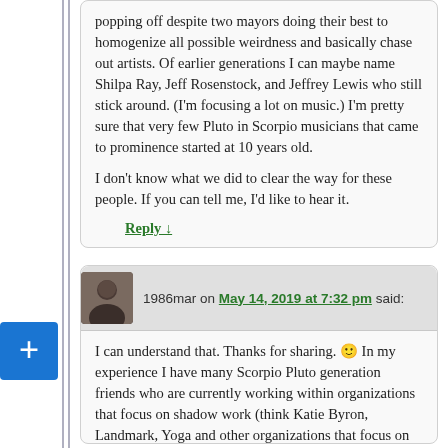popping off despite two mayors doing their best to homogenize all possible weirdness and basically chase out artists. Of earlier generations I can maybe name Shilpa Ray, Jeff Rosenstock, and Jeffrey Lewis who still stick around. (I'm focusing a lot on music.) I'm pretty sure that very few Pluto in Scorpio musicians that came to prominence started at 10 years old.

I don't know what we did to clear the way for these people. If you can tell me, I'd like to hear it.
Reply ↓
1986mar on May 14, 2019 at 7:32 pm said:
I can understand that. Thanks for sharing. 🙂 In my experience I have many Scorpio Pluto generation friends who are currently working within organizations that focus on shadow work (think Katie Byron, Landmark, Yoga and other organizations that focus on the inner work for all generations). It's a process and I am focusing on the positives we have brought to the table and know there is still more work to be done! Thanks ?
Reply ↓